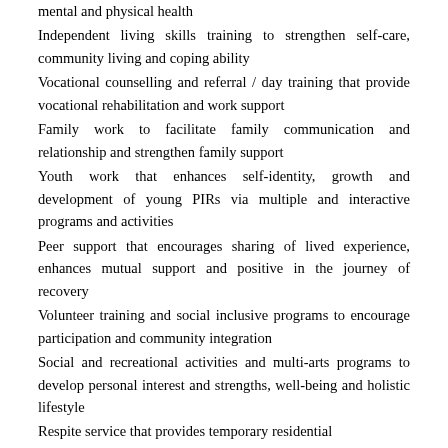mental and physical health
Independent living skills training to strengthen self-care, community living and coping ability
Vocational counselling and referral / day training that provide vocational rehabilitation and work support
Family work to facilitate family communication and relationship and strengthen family support
Youth work that enhances self-identity, growth and development of young PIRs via multiple and interactive programs and activities
Peer support that encourages sharing of lived experience, enhances mutual support and positive in the journey of recovery
Volunteer training and social inclusive programs to encourage participation and community integration
Social and recreational activities and multi-arts programs to develop personal interest and strengths, well-being and holistic lifestyle
Respite service that provides temporary residential